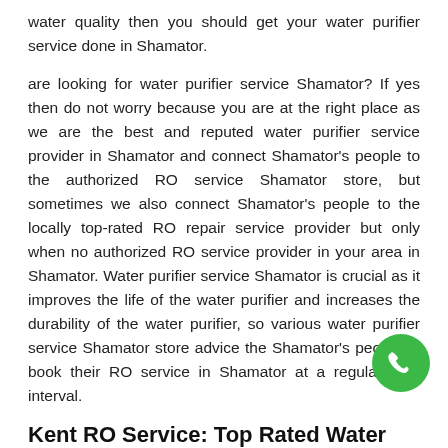water quality then you should get your water purifier service done in Shamator.
are looking for water purifier service Shamator? If yes then do not worry because you are at the right place as we are the best and reputed water purifier service provider in Shamator and connect Shamator's people to the authorized RO service Shamator store, but sometimes we also connect Shamator's people to the locally top-rated RO repair service provider but only when no authorized RO service provider in your area in Shamator. Water purifier service Shamator is crucial as it improves the life of the water purifier and increases the durability of the water purifier, so various water purifier service Shamator store advice the Shamator's people to book their RO service in Shamator at a regular time interval.
Kent RO Service: Top Rated Water